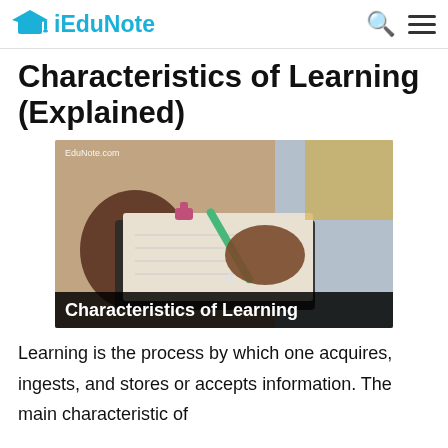iEduNote
Characteristics of Learning (Explained)
[Figure (photo): Person writing on paper on a clipboard, holding a green pen, with text overlay 'Characteristics of Learning' and watermark 'EduNote.com']
Learning is the process by which one acquires, ingests, and stores or accepts information. The main characteristic of